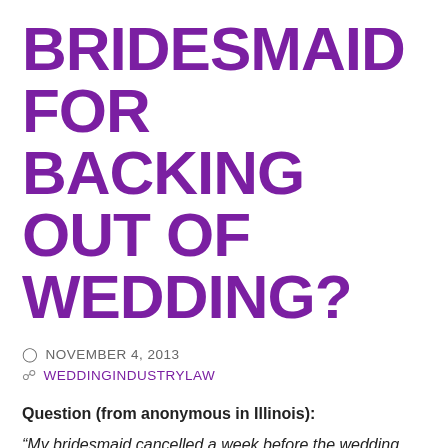BRIDESMAID FOR BACKING OUT OF WEDDING?
NOVEMBER 4, 2013
WEDDINGINDUSTRYLAW
Question (from anonymous in Illinois):
“My bridesmaid cancelled a week before the wedding and I am unable to find a replacement.